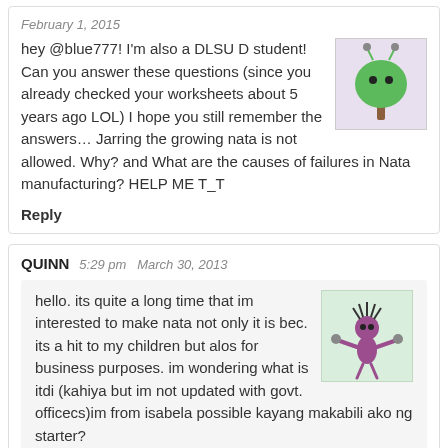February 1, 2015
hey @blue777! I'm also a DLSU D student! Can you answer these questions (since you already checked your worksheets about 5 years ago LOL) I hope you still remember the answers… Jarring the growing nata is not allowed. Why? and What are the causes of failures in Nata manufacturing? HELP ME T_T
Reply
QUINN   5:29 pm   March 30, 2013
hello. its quite a long time that im interested to make nata not only it is bec. its a hit to my children but alos for business purposes. im wondering what is itdi (kahiya but im not updated with govt. officecs)im from isabela possible kayang makabili ako ng starter?